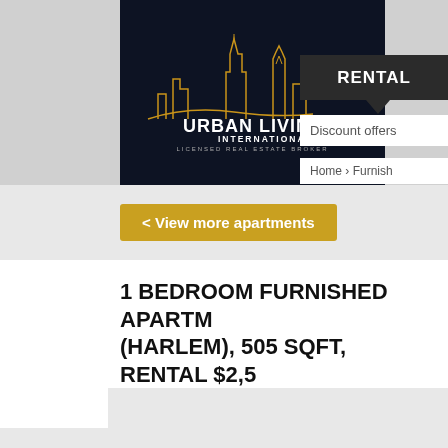[Figure (logo): Urban Living International logo — dark navy background with gold skyline silhouette, text 'URBAN LIVING INTERNATIONAL LICENSED REAL ESTATE BROKER']
RENTAL
Discount offers
Home › Furnish
< View more apartments
1 BEDROOM FURNISHED APARTM (HARLEM), 505 SQFT, RENTAL $2,5
Address: West 130Th Street, New York (10037), n